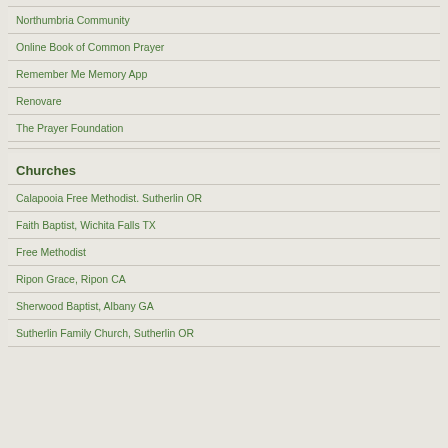Northumbria Community
Online Book of Common Prayer
Remember Me Memory App
Renovare
The Prayer Foundation
Churches
Calapooia Free Methodist. Sutherlin OR
Faith Baptist, Wichita Falls TX
Free Methodist
Ripon Grace, Ripon CA
Sherwood Baptist, Albany GA
Sutherlin Family Church, Sutherlin OR